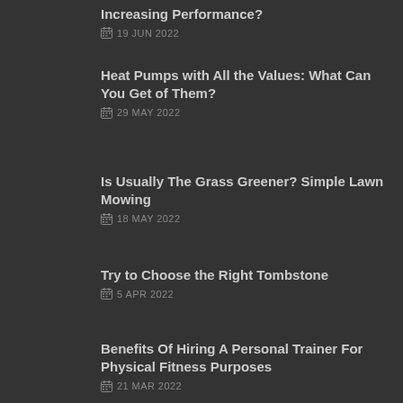Increasing Performance?
19 JUN 2022
Heat Pumps with All the Values: What Can You Get of Them?
29 MAY 2022
Is Usually The Grass Greener? Simple Lawn Mowing
18 MAY 2022
Try to Choose the Right Tombstone
5 APR 2022
Benefits Of Hiring A Personal Trainer For Physical Fitness Purposes
21 MAR 2022